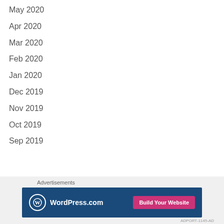May 2020
Apr 2020
Mar 2020
Feb 2020
Jan 2020
Dec 2019
Nov 2019
Oct 2019
Sep 2019
Advertisements
[Figure (other): WordPress.com advertisement banner with blue background, WordPress.com logo and text on left, pink 'Build Your Website' button on right. Close button (X in circle) in top-right corner of ad area.]